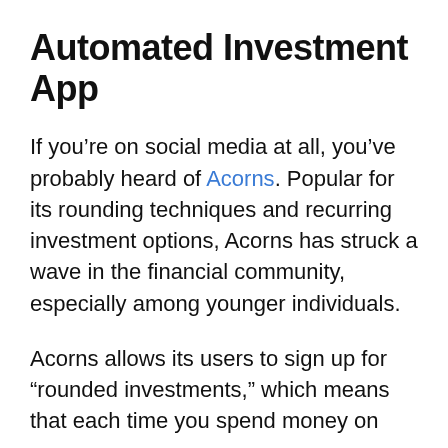Automated Investment App
If you’re on social media at all, you’ve probably heard of Acorns. Popular for its rounding techniques and recurring investment options, Acorns has struck a wave in the financial community, especially among younger individuals.
Acorns allows its users to sign up for “rounded investments,” which means that each time you spend money on